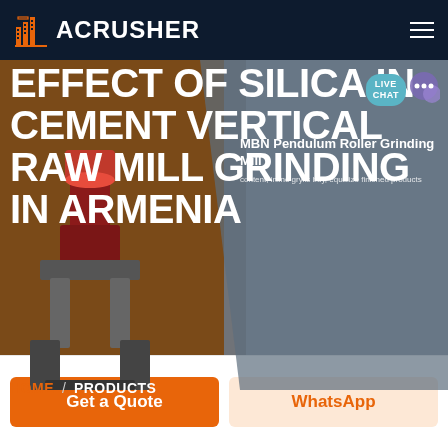ACRUSHER
EFFECT OF SILICA IN CEMENT VERTICAL RAW MILL GRINDING IN ARMENIA
MBN Pendulum Roller Grinding Mill
content, inline grylls buy, equalize finished products
HOME / PRODUCTS
Get a Quote
WhatsApp